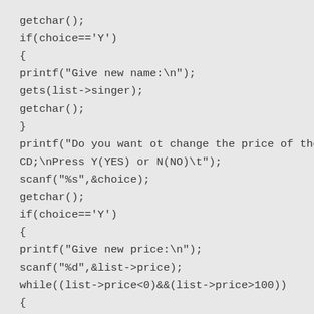getchar();
if(choice=='Y')
{
printf("Give new name:\n");
gets(list->singer);
getchar();
}
printf("Do you want ot change the price of the CD;\nPress Y(YES) or N(NO)\t");
scanf("%s",&choice);
getchar();
if(choice=='Y')
{
printf("Give new price:\n");
scanf("%d",&list->price);
while((list->price<0)&&(list->price>100))
{